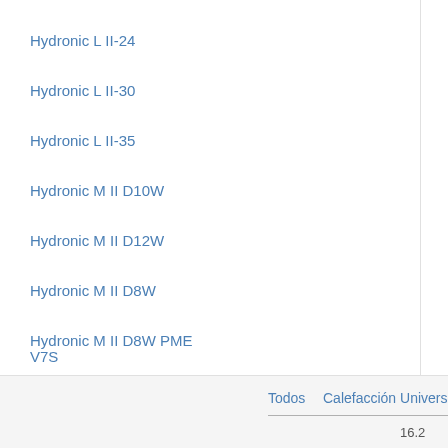Hydronic L II-24
Hydronic L II-30
Hydronic L II-35
Hydronic M II D10W
Hydronic M II D12W
Hydronic M II D8W
Hydronic M II D8W PME
V7S
Todos   Calefacción Universa   16.2
16.2